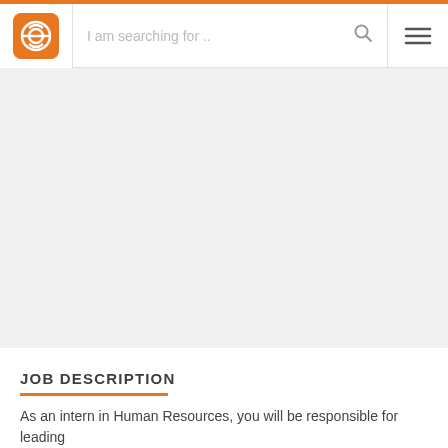[Figure (screenshot): Website navigation header with orange logo icon, search bar with placeholder text 'I am searching for ..', search magnifier icon, and hamburger menu icon]
[Figure (photo): Large light grey hero/banner image area, appears blank or image not loaded]
JOB DESCRIPTION
As an intern in Human Resources, you will be responsible for leading